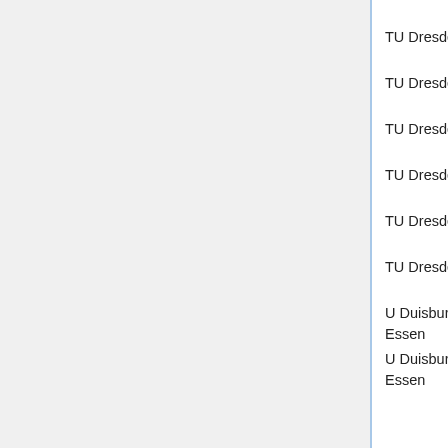| Institution | Subject | Date | Name/Ref |
| --- | --- | --- | --- |
|  | (W3) |  |  |
| TU Dresden | algebra (W3) | Oct 16, 2012 |  |
| TU Dresden | numer anal (W2) | Oct 16, 2012 | Ma [35…] |
| TU Dresden | PDE (W2) | Oct 16, 2012 |  |
| TU Dresden | all (10 tt) | May 15, 2013 | Ke [36…] |
| TU Dresden | algebra, disc (W3) | May 24, 2013 |  |
| TU Dresden | num PDE (W3) | Oct 15, 2013 |  |
| U Duisburg-Essen | algebra (W3) | May 20, 2011 | Gu [37…] |
| U Duisburg-Essen | arith geom (W2) | Oct 13, 2011 | Ma Be Ja Ko [39…] |
| U Duisburg-Essen | numerics (W3) | Nov 26, 2012 | Jo Kr Sv Be |